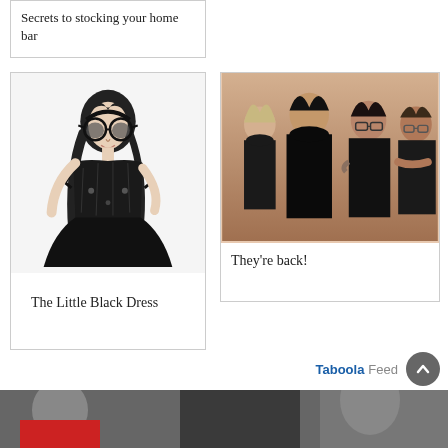Secrets to stocking your home bar
[Figure (illustration): Black and white fashion illustration of a woman wearing heart-shaped sunglasses and a structured black dress]
The Little Black Dress
[Figure (photo): Photo of four people (a band) posing against a warm beige/pink background, dressed in dark clothing]
They're back!
Taboola Feed
[Figure (photo): Partial photo at bottom of page showing people, cropped]